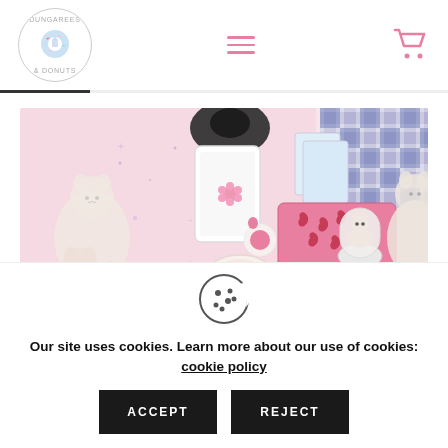Dungarees & Donuts — navigation header with logo, hamburger menu, and cart icon
[Figure (photo): Flat lay photo of cute cat-themed accessories and items on a pink background, including a pink wallet with lobster pattern, phone case, cards, and illustrated cat figures with navy gingham fabric]
[Figure (illustration): Cookie consent icon — a cookie with bite taken out and dots]
Our site uses cookies. Learn more about our use of cookies: cookie policy
ACCEPT
REJECT